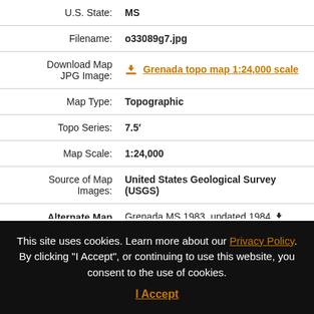| U.S. State: | MS |
| Filename: | o33089g7.jpg |
| Download Map JPG Image: | Grenada topo map 1:24,000 scale |
| Map Type: | Topographic |
| Topo Series: | 7.5′ |
| Map Scale: | 1:24,000 |
| Source of Map Images: | United States Geological Survey (USGS) |
| Alternate Map | Grenada MS 1983, updated 1984 |
This site uses cookies. Learn more about our Privacy Policy. By clicking "I Accept", or continuing to use this website, you consent to the use of cookies.
I Accept